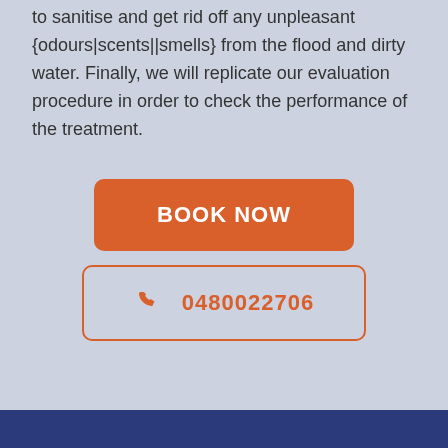to sanitise and get rid off any unpleasant {odours|scents||smells} from the flood and dirty water. Finally, we will replicate our evaluation procedure in order to check the performance of the treatment.
BOOK NOW
0480022706